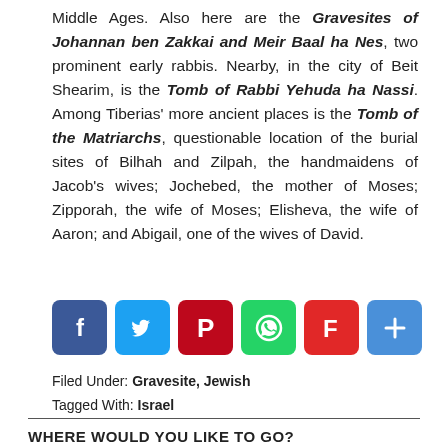Middle Ages. Also here are the Gravesites of Johannan ben Zakkai and Meir Baal ha Nes, two prominent early rabbis. Nearby, in the city of Beit Shearim, is the Tomb of Rabbi Yehuda ha Nassi. Among Tiberias' more ancient places is the Tomb of the Matriarchs, questionable location of the burial sites of Bilhah and Zilpah, the handmaidens of Jacob's wives; Jochebed, the mother of Moses; Zipporah, the wife of Moses; Elisheva, the wife of Aaron; and Abigail, one of the wives of David.
[Figure (infographic): Social sharing buttons: Facebook (blue), Twitter (blue), Pinterest (dark red), WhatsApp (green), Flipboard (red), Add/Share (blue)]
Filed Under: Gravesite, Jewish
Tagged With: Israel
WHERE WOULD YOU LIKE TO GO?